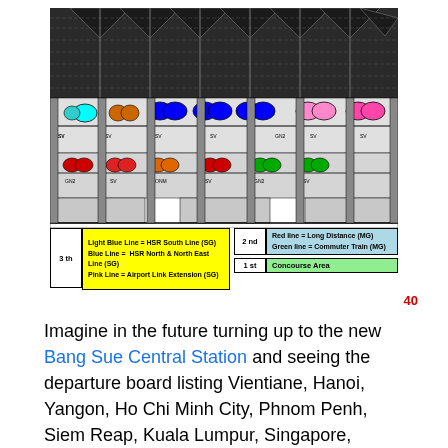[Figure (engineering-diagram): Cross-section architectural diagram of Bang Sue Central Station showing multiple floors with train platforms. Color-coded trains/lines visible: cyan (Light Blue/HSR South), blue (HSR North & North East), pink (Airport Link Extension) on 3rd floor; red and green trains on 2nd floor; concourse on 1st floor. Black and white structural framework shown above.]
3 th | Light Blue Line = HSR South Line (SG) | Blue Line = HSR North & North East Line (SG) | Pink Line = Airport Link Extension (SG) | 2 nd | Red line = Long Distance (MG) | Green line = Commuter Train (MG) | 1 st | Concourse Area
40
Imagine in the future turning up to the new Bang Sue Central Station and seeing the departure board listing Vientiane, Hanoi, Yangon, Ho Chi Minh City, Phnom Penh, Siem Reap, Kuala Lumpur, Singapore, Kunming, and Delhi. This is the future Southeast Asia railway, and it's being built now.